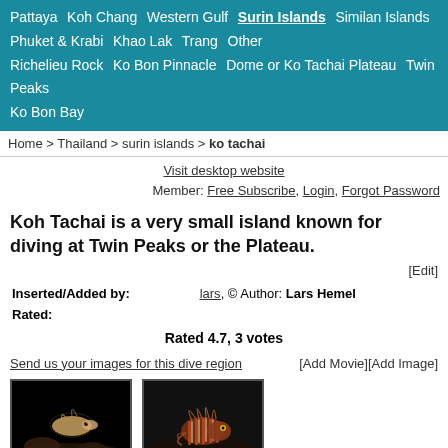Pattaya  Koh Chang  Western Gulf  Surin Islands  Similan Islands  Phuket & Krabi  Khao Lak  Trang  Other  Richelieu Rock  Ko Bon Pinnacle  Dome or Ko Tachai Plateau  Twin Peaks  Ko Bon Bay
Home > Thailand > surin islands > ko tachai
Visit desktop website
Member: Free Subscribe, Login, Forgot Password
Koh Tachai is a very small island known for diving at Twin Peaks or the Plateau.
[Edit]
Inserted/Added by:   lars, © Author: Lars Hemel
Rated:
Rated 4.7, 3 votes
Send us your images for this dive region   [Add Movie][Add Image]
[Figure (photo): Underwater photo of a small fish/creature on coral, dark background]
[Figure (photo): Underwater photo of a lionfish, dark background]